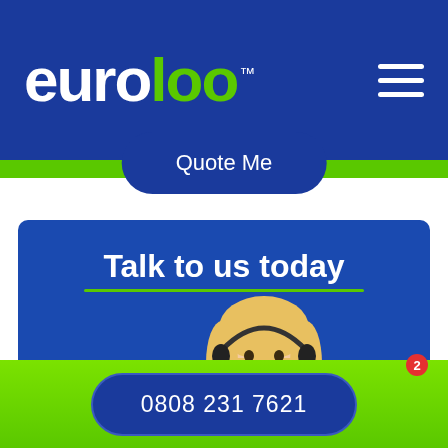euroloo™
Quote Me
Talk to us today
Our friendly, helpful team are only a call away to
[Figure (photo): Smiling blonde woman wearing a headset, customer service representative]
[Figure (illustration): Robot chat icon with notification badge showing 2]
0808 231 7621